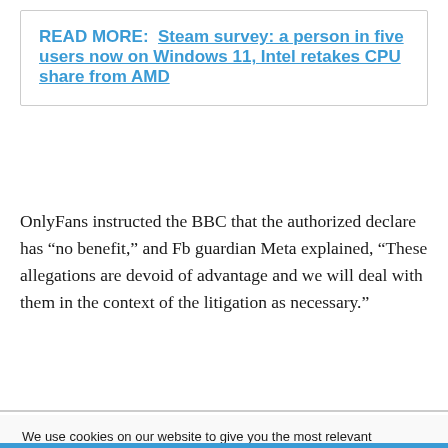READ MORE:  Steam survey: a person in five users now on Windows 11, Intel retakes CPU share from AMD
OnlyFans instructed the BBC that the authorized declare has “no benefit,” and Fb guardian Meta explained, “These allegations are devoid of advantage and we will deal with them in the context of the litigation as necessary.”
We use cookies on our website to give you the most relevant experience by remembering your preferences and repeat visits. By clicking “Accept All”, you consent to the use of ALL the cookies. However, you may visit "Cookie Settings" to provide a controlled consent.